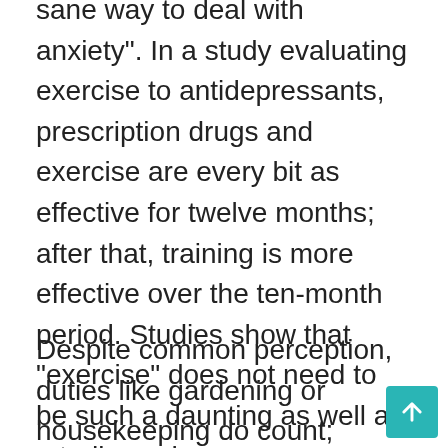sane way to deal with anxiety”. In a study evaluating exercise to antidepressants, prescription drugs and exercise are every bit as effective for twelve months; after that, training is more effective over the ten-month period. Studies show that “exercise” does not need to be such a daunting as well as a tedious chore as our own minds may make it out to become.
Despite common perception, duties like gardening or housekeeping do count; activities for example gardening, raking,